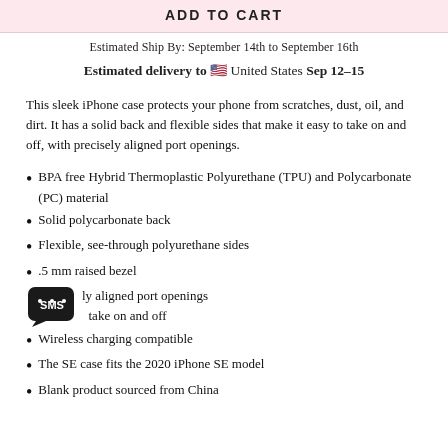ADD TO CART
Estimated Ship By: September 14th to September 16th
Estimated delivery to 🇺🇸 United States Sep 12–15
This sleek iPhone case protects your phone from scratches, dust, oil, and dirt. It has a solid back and flexible sides that make it easy to take on and off, with precisely aligned port openings.
BPA free Hybrid Thermoplastic Polyurethane (TPU) and Polycarbonate (PC) material
Solid polycarbonate back
Flexible, see-through polyurethane sides
.5 mm raised bezel
Precisely aligned port openings
Easy to take on and off
Wireless charging compatible
The SE case fits the 2020 iPhone SE model
Blank product sourced from China